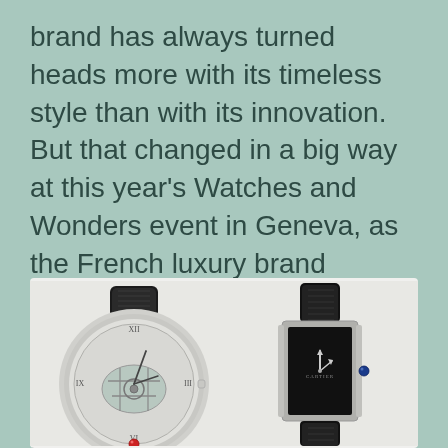brand has always turned heads more with its timeless style than with its innovation. But that changed in a big way at this year's Watches and Wonders event in Geneva, as the French luxury brand unveiled one of the strangest and most exciting mechanical watch movements you're likely to ever see in its best fake Cartier Masse Mystérieuse watches.
[Figure (photo): Two Cartier watches side by side on a light background: on the left, a round silver watch with a skeleton/transparent tourbillon movement, black alligator strap, and a red cabochon at 6 o'clock; on the right, a rectangular Tank-style watch with a black dial, silver case, black strap, and a blue cabochon on the crown.]